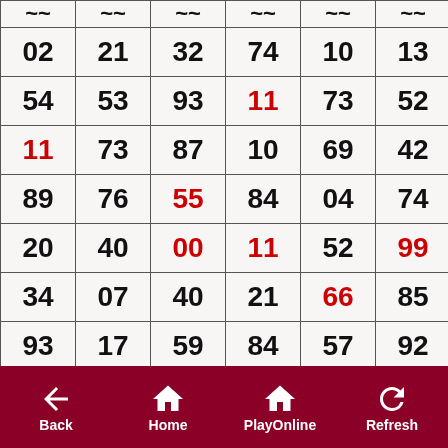| ~~ | ~~ | ~~ | ~~ | ~~ | ~~ |
| 02 | 21 | 32 | 74 | 10 | 13 |
| 54 | 53 | 93 | 11* | 73 | 52 |
| 11* | 73 | 87 | 10 | 69 | 42 |
| 89 | 76 | 55* | 84 | 04 | 74 |
| 20 | 40 | 00* | 11* | 52 | 99* |
| 34 | 07 | 40 | 21 | 66* | 85 |
| 93 | 17 | 59 | 84 | 57 | 92 |
| 51 | 25 | ** | 11* | 77* | 77* |
Back | Home | PlayOnline | Refresh